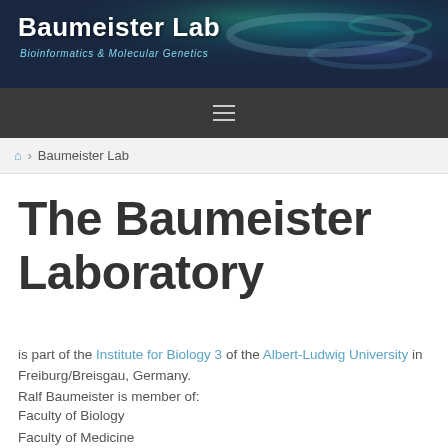[Figure (screenshot): Baumeister Lab website header banner with microscopy image background showing blue/green fluorescence, with white bold title 'Baumeister Lab' and subtitle 'Bioinformatics & Molecular Genetics']
Baumeister Lab | Bioinformatics & Molecular Genetics
☰ (hamburger menu)
🏠 > Baumeister Lab
The Baumeister Laboratory
is part of the Institute for Biology 3 of the Albert-Ludwig University in Freiburg/Breisgau, Germany.
Ralf Baumeister is member of:
Faculty of Biology
Faculty of Medicine